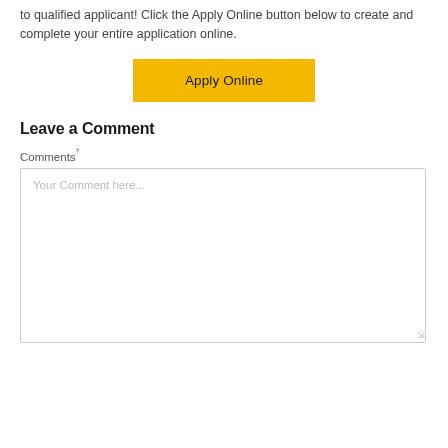to qualified applicant! Click the Apply Online button below to create and complete your entire application online.
[Figure (other): Yellow 'Apply Online' button]
Leave a Comment
Comments*
[Figure (other): Text area input field with placeholder 'Your Comment here...']